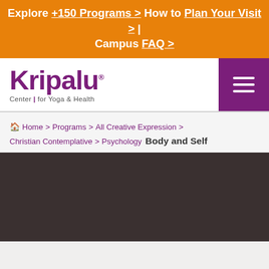Explore +150 Programs > How to Plan Your Visit > | Campus FAQ >
[Figure (logo): Kripalu Center for Yoga & Health logo with purple wordmark and hamburger menu button]
Home > Programs > All Creative Expression > Christian Contemplative > Psychology  Body and Self